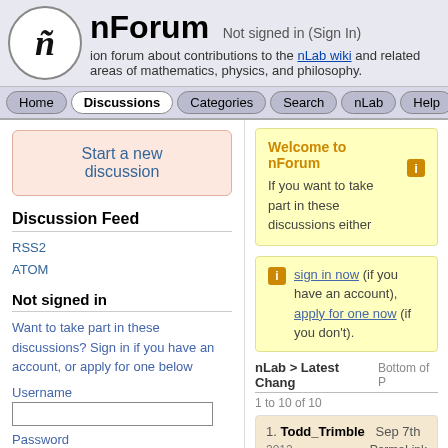nForum — Not signed in (Sign In) — A discussion forum about contributions to the nLab wiki and related areas of mathematics, physics, and philosophy.
Home | Discussions | Categories | Search | nLab | Help
Start a new discussion
Discussion Feed
RSS2
ATOM
Not signed in
Want to take part in these discussions? Sign in if you have an account, or apply for one below
Username
Password
Remember me
Welcome to nForum
If you want to take part in these discussions either sign in now (if you have an account), apply for one now (if you don't).
nLab > Latest Chang  Bottom of P
1 to 10 of 10
1. Todd_Trimble  Sep 7th 2012  PermaLink
I've added to the